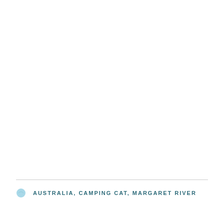AUSTRALIA, CAMPING CAT, MARGARET RIVER